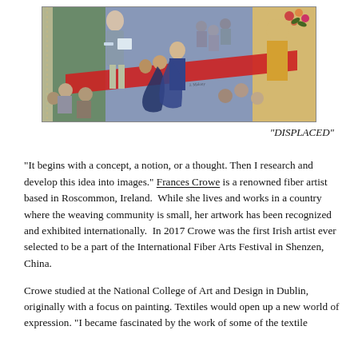[Figure (illustration): A wide horizontal textile artwork titled 'DISPLACED' showing multiple figures in a painterly style with a bold red diagonal stripe across the composition. Figures include a tall woman on the left, groups of seated and standing people, and flowers on the right.]
"DISPLACED"
"It begins with a concept, a notion, or a thought. Then I research and develop this idea into images." Frances Crowe is a renowned fiber artist based in Roscommon, Ireland.  While she lives and works in a country where the weaving community is small, her artwork has been recognized and exhibited internationally.  In 2017 Crowe was the first Irish artist ever selected to be a part of the International Fiber Arts Festival in Shenzen, China.
Crowe studied at the National College of Art and Design in Dublin, originally with a focus on painting. Textiles would open up a new world of expression. "I became fascinated by the work of some of the textile